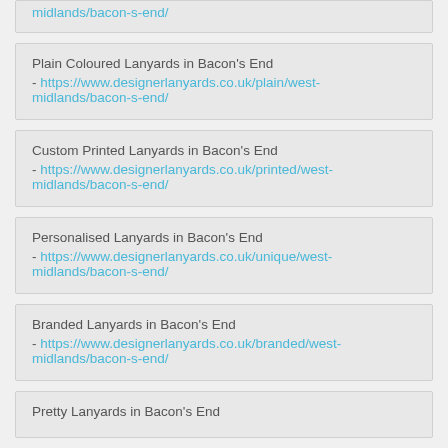Plain Coloured Lanyards in Bacon's End - https://www.designerlanyards.co.uk/plain/west-midlands/bacon-s-end/
Custom Printed Lanyards in Bacon's End - https://www.designerlanyards.co.uk/printed/west-midlands/bacon-s-end/
Personalised Lanyards in Bacon's End - https://www.designerlanyards.co.uk/unique/west-midlands/bacon-s-end/
Branded Lanyards in Bacon's End - https://www.designerlanyards.co.uk/branded/west-midlands/bacon-s-end/
Pretty Lanyards in Bacon's End